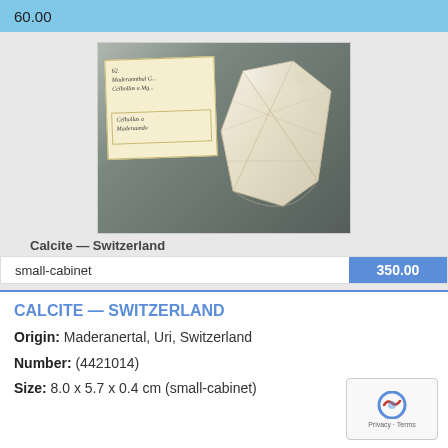60.00
[Figure (photo): Calcite mineral specimen from Switzerland (Maderanertal, Uri), a white translucent flat tabular crystal with hexagonal faces, displayed in front of an old handwritten paper label card.]
Calcite — Switzerland
small-cabinet   350.00
CALCITE — SWITZERLAND
Origin: Maderanertal, Uri, Switzerland
Number: (4421014)
Size: 8.0 x 5.7 x 0.4 cm (small-cabinet)